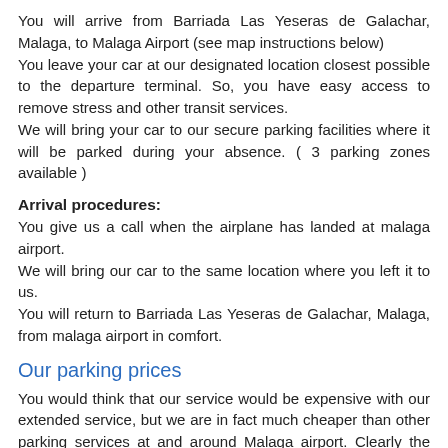You will arrive from Barriada Las Yeseras de Galachar, Malaga, to Malaga Airport (see map instructions below)
You leave your car at our designated location closest possible to the departure terminal. So, you have easy access to remove stress and other transit services.
We will bring your car to our secure parking facilities where it will be parked during your absence. ( 3 parking zones available )
Arrival procedures:
You give us a call when the airplane has landed at malaga airport.
We will bring our car to the same location where you left it to us.
You will return to Barriada Las Yeseras de Galachar, Malaga, from malaga airport in comfort.
Our parking prices
You would think that our service would be expensive with our extended service, but we are in fact much cheaper than other parking services at and around Malaga airport. Clearly the easiest and most comfortable way to park at malaga airport would be to use the parking right next to the terminal. But of